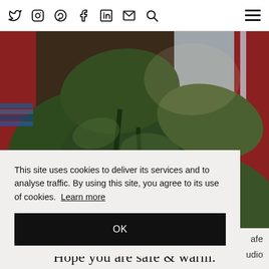Social media icons (Twitter, Instagram, Pinterest, Facebook, LinkedIn, Email, Search) and hamburger menu
[Figure (photo): Close-up photo of large dark green tropical plant leaves (likely Philodendron or similar) indoors, with red-framed window and bookshelves visible in background]
This site uses cookies to deliver its services and to analyse traffic. By using this site, you agree to its use of cookies. Learn more
OK
afe
udio
Hope you are safe & warm.